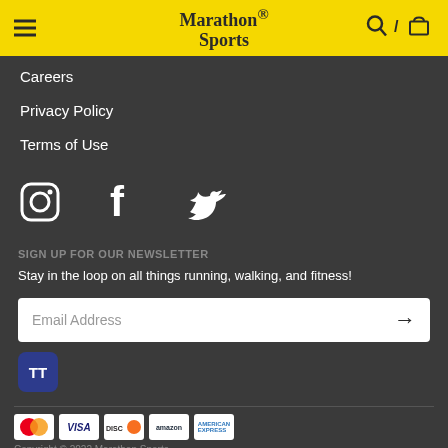Marathon Sports
Careers
Privacy Policy
Terms of Use
[Figure (illustration): Social media icons: Instagram, Facebook, Twitter]
SIGN UP FOR OUR NEWSLETTER
Stay in the loop on all things running, walking, and fitness!
[Figure (screenshot): Email Address input box with arrow submit button]
[Figure (logo): TT badge icon in dark blue]
[Figure (illustration): Payment method icons: Mastercard, Visa, Discover, Amazon, American Express]
Copyright © 2022 Marathon Sports